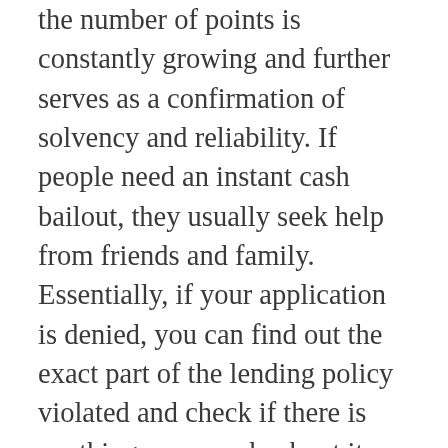the number of points is constantly growing and further serves as a confirmation of solvency and reliability. If people need an instant cash bailout, they usually seek help from friends and family. Essentially, if your application is denied, you can find out the exact part of the lending policy violated and check if there is anything you can do about it. You can also choose lenders that do not prioritize the factor that got you rejected. For instance, if a provider disqualifies you for having a low credit score, you can find lending companies that do not perform credit checks. You need to save time and show that you respect them and are